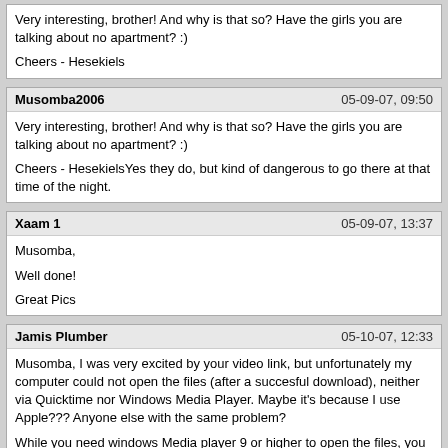Very interesting, brother! And why is that so? Have the girls you are talking about no apartment? :)

Cheers - Hesekiels
Musomba2006 | 05-09-07, 09:50
Very interesting, brother! And why is that so? Have the girls you are talking about no apartment? :)

Cheers - HesekielsYes they do, but kind of dangerous to go there at that time of the night.
Xaam 1 | 05-09-07, 13:37
Musomba,

Well done!

Great Pics
Jamis Plumber | 05-10-07, 12:33
Musomba, I was very excited by your video link, but unfortunately my computer could not open the files (after a succesful download), neither via Quicktime nor Windows Media Player. Maybe it's because I use Apple??? Anyone else with the same problem?

While you need windows Media player 9 or higher to open the files, you will need to part with 10 USD to access the files. Would not pay for such when I can use the same ammount to get an all-night shagging. Respect to Musomba though.